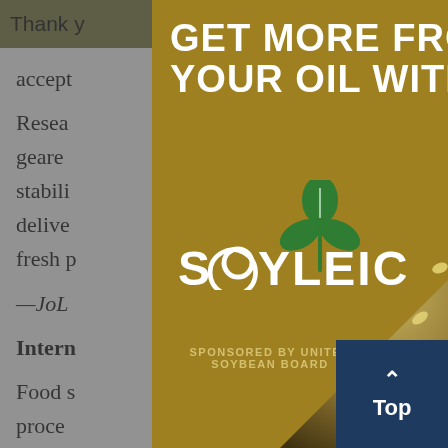Thank you... tools you
accept
Research... geared... shelf stability... while delivering... able, fresh p...es.
—JoL... Inc.
Intern
Food s... proce...
[Figure (infographic): Modal advertisement overlay: 'GET MORE FROM YOUR OIL WITH' headline in large white bold text on golden/olive background, Soyleic logo with green plant icon and brand name in white, 'SPONSORED BY UNITED SOYBEAN BOARD' text at bottom, grain/seed texture photo in bottom-right corner, close button (X) in top-right corner.]
[Figure (infographic): Blue 'Top' navigation button with upward arrow chevron in bottom-right corner of page.]